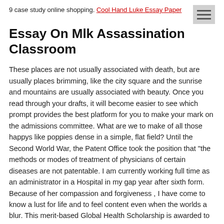9 case study online shopping. Cool Hand Luke Essay Paper
Essay On Mlk Assassination Classroom
These places are not usually associated with death, but are usually places brimming, like the city square and the sunrise and mountains are usually associated with beauty. Once you read through your drafts, it will become easier to see which prompt provides the best platform for you to make your mark on the admissions committee. What are we to make of all those happys like poppies dense in a simple, flat field? Until the Second World War, the Patent Office took the position that "the methods or modes of treatment of physicians of certain diseases are not patentable. I am currently working full time as an administrator in a Hospital in my gap year after sixth form. Because of her compassion and forgiveness , I have come to know a lust for life and to feel content even when the worlds a blur. This merit-based Global Health Scholarship is awarded to a Coupon For Essay Edges